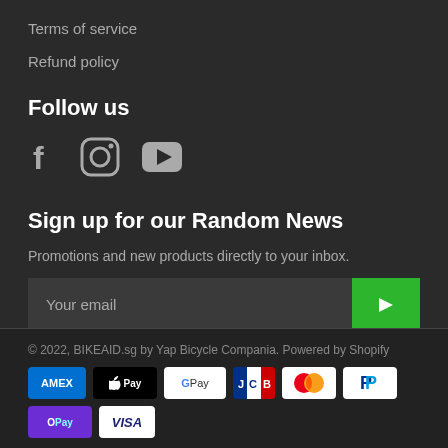Terms of service
Refund policy
Follow us
[Figure (other): Social media icons: Facebook, Instagram, YouTube]
Sign up for our Random News
Promotions and new products directly to your inbox.
Your email [input field with green submit button]
© 2022, BIKEAID.sg by Yap Bicycle Compania. Powered by Shopify
[Figure (other): Payment method icons: Amex, Apple Pay, Google Pay, JCB, Mastercard, PayPal, OPay, Visa]